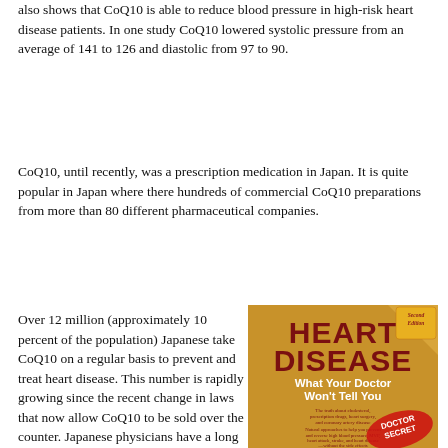also shows that CoQ10 is able to reduce blood pressure in high-risk heart disease patients. In one study CoQ10 lowered systolic pressure from an average of 141 to 126 and diastolic from 97 to 90.
CoQ10, until recently, was a prescription medication in Japan. It is quite popular in Japan where there hundreds of commercial CoQ10 preparations from more than 80 different pharmaceutical companies.
Over 12 million (approximately 10 percent of the population) Japanese take CoQ10 on a regular basis to prevent and treat heart disease. This number is rapidly growing since the recent change in laws that now allow CoQ10 to be sold over the counter. Japanese physicians have a long
[Figure (photo): Book cover for 'Heart Disease: What Your Doctor Won't Tell You' — Second Edition. Features dark red/maroon bold title text on a tan/golden background. Subtitle text in white bold reads 'What Your Doctor Won't Tell You'. Small text mentions cholesterol, prescription drugs, heart surgery, coronary artery disease, and natural approaches. A red 'Doctor Secret' stamp at bottom right.]